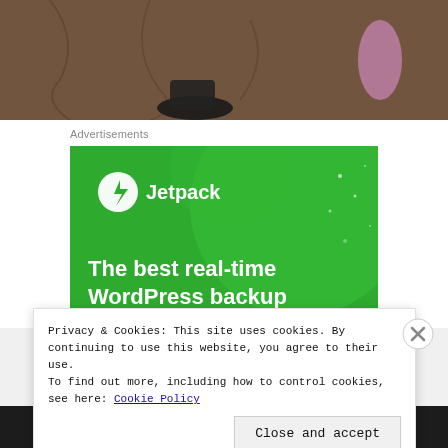[Figure (photo): Top portion of a photo showing feet/legs on pavement, partially cropped]
Advertisements
[Figure (screenshot): Jetpack advertisement banner — green background with Jetpack logo and text: The best real-time WordPress backup plugin]
Privacy & Cookies: This site uses cookies. By continuing to use this website, you agree to their use.
To find out more, including how to control cookies, see here: Cookie Policy
Close and accept